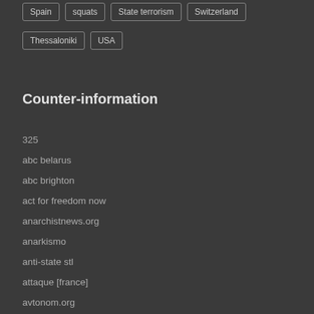Spain
squats
State terrorism
Switzerland
Thessaloniki
USA
Counter-information
325
abc belarus
abc brighton
act for freedom now
anarchistnews.org
anarkismo
anti-state stl
attaque [france]
avtonom.org
bite back